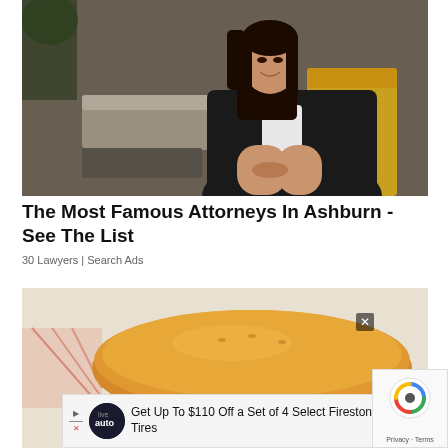[Figure (photo): Professional woman with long dark hair wearing a black blazer, seated in a gold/yellow chair in what appears to be a modern office lobby.]
The Most Famous Attorneys In Ashburn - See The List
30 Lawyers | Search Ads
[Figure (photo): Close-up photo of a burger bun on white paper wrapping with pink/red decorative elements.]
Get Up To $110 Off a Set of 4 Select Firestone Tires